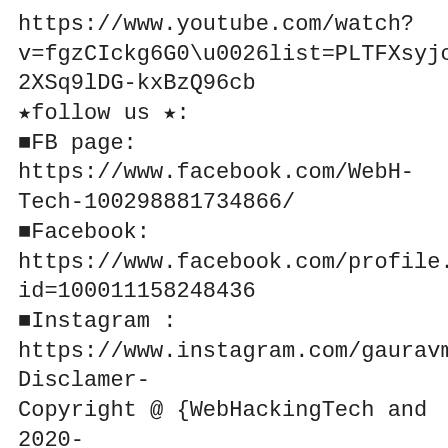https://www.youtube.com/watch?v=fgzCIckg6G0\u0026list=PLTFXsyjcHE0IKoP2XSq9lDG-kxBzQ96cb
★follow us ★:
■FB page: https://www.facebook.com/WebH-Tech-100298881734866/
■Facebook: https://www.facebook.com/profile.php?id=100011158248436
■Instagram : https://www.instagram.com/gauravmmgupta/
Disclamer-
Copyright @ {WebHackingTech and 2020-2021}. Any reproduction or illegal distribution of the content in any form will result in immediate action against the person concerned.
"All the videos, songs, images, and graphics